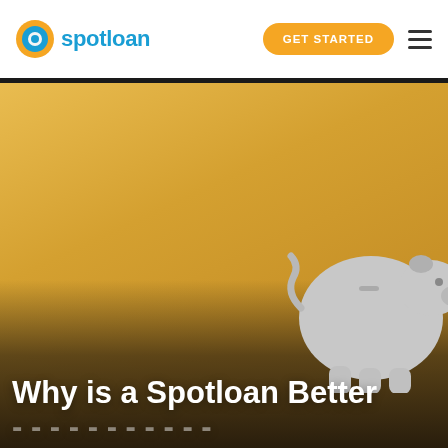[Figure (logo): Spotloan logo: circular icon with orange outer ring and blue/teal inner circle, beside the text 'spotloan' in blue]
GET STARTED
[Figure (photo): Hero image with a warm yellow/golden background showing a blurred piggy bank silhouette in the lower right. The lower portion has a dark overlay. Text overlay reads 'Why is a Spotloan Better' and a partially visible second line below.]
Why is a Spotloan Better